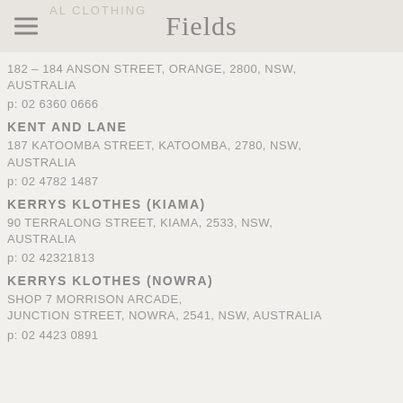Fields
182 – 184 ANSON STREET, ORANGE, 2800, NSW, AUSTRALIA
p: 02 6360 0666
KENT AND LANE
187 KATOOMBA STREET, KATOOMBA, 2780, NSW, AUSTRALIA
p: 02 4782 1487
KERRYS KLOTHES (KIAMA)
90 TERRALONG STREET, KIAMA, 2533, NSW, AUSTRALIA
p: 02 42321813
KERRYS KLOTHES (NOWRA)
SHOP 7 MORRISON ARCADE, JUNCTION STREET, NOWRA, 2541, NSW, AUSTRALIA
p: 02 4423 0891